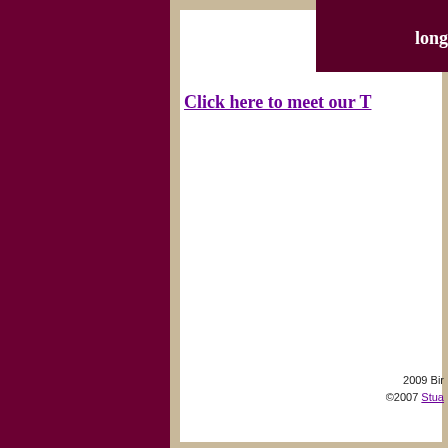long
Click here to meet our T
2009 Bir
©2007 Stua